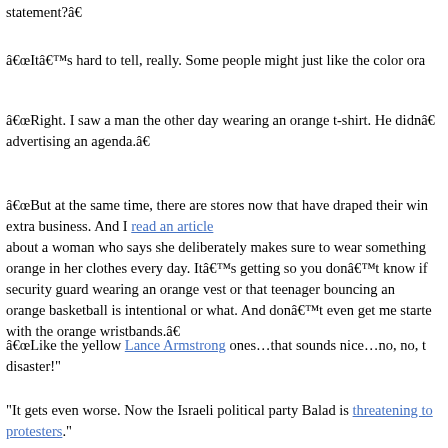statement?”
“It’s hard to tell, really. Some people might just like the color ora…
“Right. I saw a man the other day wearing an orange t-shirt. He didn’a… advertising an agenda.”
“But at the same time, there are stores now that have draped their win… extra business. And I read an article about a woman who says she deliberately makes sure to wear something orange in her clothes every day. It’s getting so you don’t know if security guard wearing an orange vest or that teenager bouncing an orange basketball is intentional or what. And don’t even get me starte… with the orange wristbands.”
“Like the yellow Lance Armstrong ones…that sounds nice…no, no, t… disaster!"
“It gets even worse. Now the Israeli political party Balad is threatening to… protesters.”